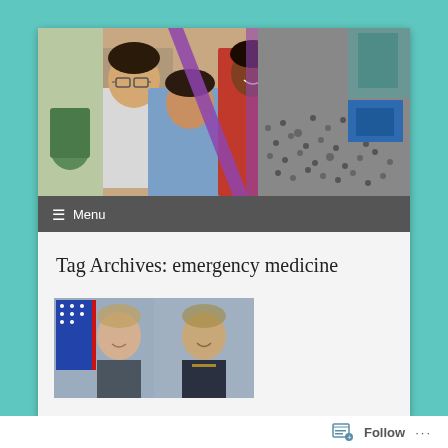[Figure (photo): Collage header image showing medical students/practitioners in a clinical setting on the left (color photo with purple diagonal divider) and a large crowd scene in black and white on the right, with a small blue rectangle inset.]
≡  Menu
Tag Archives: emergency medicine
[Figure (photo): Two uniformed military personnel in formal portrait photos side by side, with an American flag visible behind the left person.]
Follow  ...